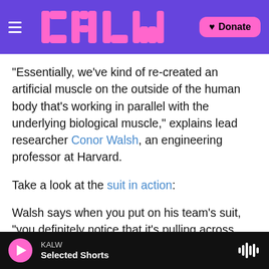KALW (logo) | Donate
"Essentially, we've kind of re-created an artificial muscle on the outside of the human body that's working in parallel with the underlying biological muscle," explains lead researcher Conor Walsh, an engineering professor at Harvard.
Take a look at the suit in action:
Walsh says when you put on his team's suit, "you definitely notice that it's pulling across your joints, so you feel, kind of, the small tugs from the cable. But after a fairly short while — maybe like five minutes — you don't really notice it anymore."
KALW | Selected Shorts